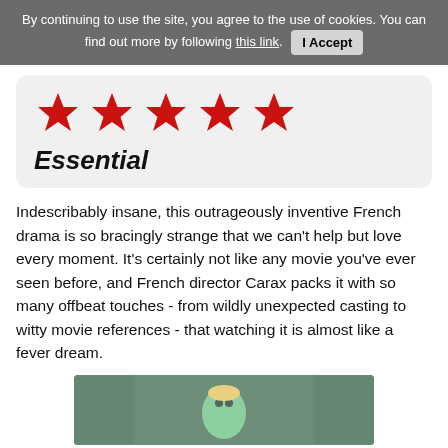By continuing to use the site, you agree to the use of cookies. You can find out more by following this link. I Accept
[Figure (infographic): Five red star rating icons displayed in a row]
Essential
Indescribably insane, this outrageously inventive French drama is so bracingly strange that we can't help but love every moment. It's certainly not like any movie you've ever seen before, and French director Carax packs it with so many offbeat touches - from wildly unexpected casting to witty movie references - that watching it is almost like a fever dream.
[Figure (photo): Movie still showing a figure wearing a green mask/makeup in what appears to be an indoor setting]